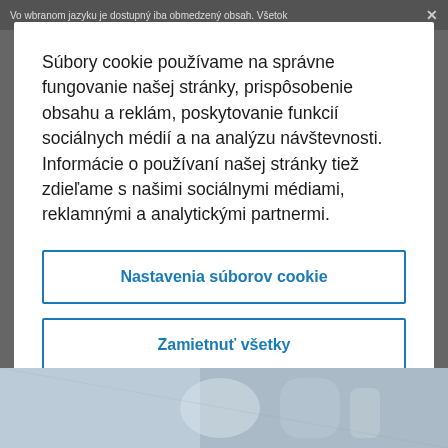Vo wbranom jazyku je dostupný iba obmedzený obsah. Všetok
Súbory cookie používame na správne fungovanie našej stránky, prispôsobenie obsahu a reklám, poskytovanie funkcií sociálnych médií a na analýzu návštevnosti. Informácie o používaní našej stránky tiež zdieľame s našimi sociálnymi médiami, reklamnými a analytickými partnermi.
Nastavenia súborov cookie
Zamietnuť všetky
Prijať všetky súbory cookie
[Figure (photo): Background image of what appears to be medical or laboratory equipment, visible at the bottom of the page behind the modal dialog]